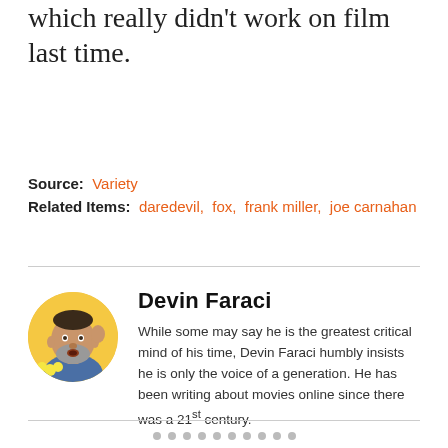which really didn't work on film last time.
Source: Variety
Related Items: daredevil, fox, frank miller, joe carnahan
Devin Faraci
While some may say he is the greatest critical mind of his time, Devin Faraci humbly insists he is only the voice of a generation. He has been writing about movies online since there was a 21st century.